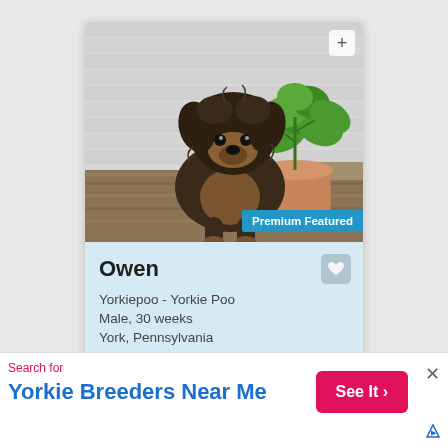[Figure (photo): A small Yorkiepoo puppy sitting on a wooden surface in front of a white brick wall, with a green plant in a terracotta pot to the right. A 'Premium Featured' badge is shown in the bottom-right of the image. A '+' button is in the top-right corner.]
Owen
Yorkiepoo - Yorkie Poo
Male, 30 weeks
York, Pennsylvania
Learn more >
Search for
Yorkie Breeders Near Me
See It >